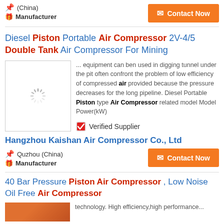(China)
Manufacturer
Contact Now
Diesel Piston Portable Air Compressor 2V-4/5 Double Tank Air Compressor For Mining
[Figure (photo): Loading spinner placeholder image for product photo]
... equipment can ben used in digging tunnel under the pit often confront the problem of low efficiency of compressed air provided because the pressure decreases for the long pipeline. Diesel Portable Piston type Air Compressor related model Model Power(kW)
Verified Supplier
Hangzhou Kaishan Air Compressor Co., Ltd
Quzhou (China)
Manufacturer
Contact Now
40 Bar Pressure Piston Air Compressor , Low Noise Oil Free Air Compressor
technology. High efficiency,high performance...